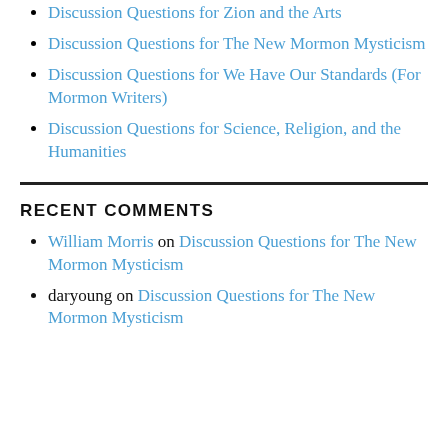Discussion Questions for Zion and the Arts
Discussion Questions for The New Mormon Mysticism
Discussion Questions for We Have Our Standards (For Mormon Writers)
Discussion Questions for Science, Religion, and the Humanities
RECENT COMMENTS
William Morris on Discussion Questions for The New Mormon Mysticism
daryoung on Discussion Questions for The New Mormon Mysticism